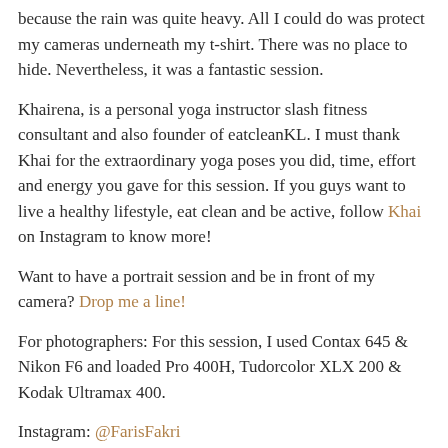because the rain was quite heavy. All I could do was protect my cameras underneath my t-shirt. There was no place to hide. Nevertheless, it was a fantastic session.
Khairena, is a personal yoga instructor slash fitness consultant and also founder of eatcleanKL. I must thank Khai for the extraordinary yoga poses you did, time, effort and energy you gave for this session. If you guys want to live a healthy lifestyle, eat clean and be active, follow Khai on Instagram to know more!
Want to have a portrait session and be in front of my camera? Drop me a line!
For photographers: For this session, I used Contax 645 & Nikon F6 and loaded Pro 400H, Tudorcolor XLX 200 & Kodak Ultramax 400.
Instagram: @FarisFakri
Founder of Film Maya